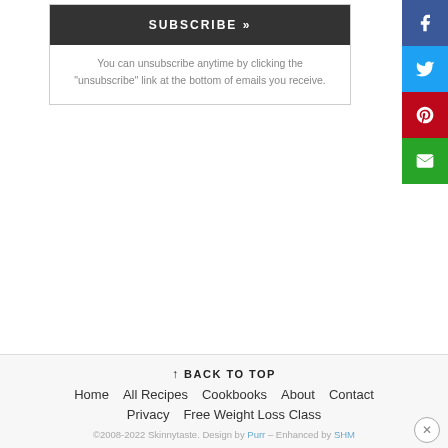SUBSCRIBE »
You can unsubscribe anytime by clicking the "unsubscribe" link at the bottom of emails you receive.
[Figure (other): Social media share buttons sidebar: Facebook (blue), Twitter (cyan), Pinterest (red), Email (green)]
↑ BACK TO TOP
Home
All Recipes
Cookbooks
About
Contact
Privacy
Free Weight Loss Class
©2008-2022 Skinnytaste. Design by Purr – Enhanced by SHM